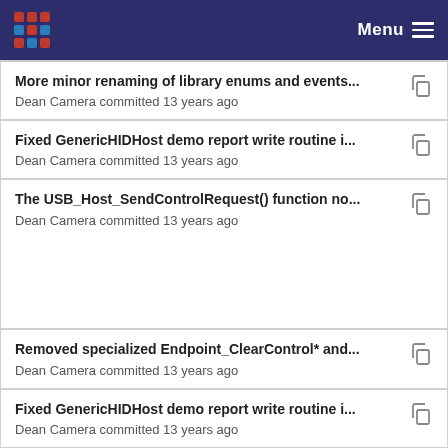Menu
More minor renaming of library enums and events... — Dean Camera committed 13 years ago
Fixed GenericHIDHost demo report write routine i... — Dean Camera committed 13 years ago
The USB_Host_SendControlRequest() function no... — Dean Camera committed 13 years ago
Removed specialized Endpoint_ClearControl* and... — Dean Camera committed 13 years ago
Fixed GenericHIDHost demo report write routine i... — Dean Camera committed 13 years ago